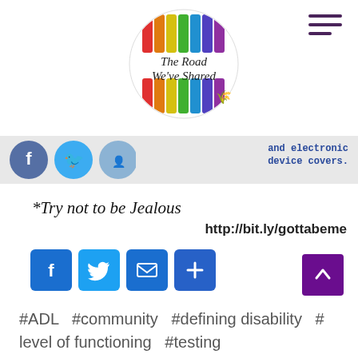[Figure (logo): Circular logo with rainbow vertical stripes and text 'The Road We've Shared' with a small yellow ribbon]
[Figure (infographic): Gray banner strip with blue social media icon circles on left and bold text 'and electronic device covers.' on the right]
*Try not to be Jealous
http://bit.ly/gottabeme
[Figure (infographic): Row of social sharing buttons: Facebook (f), Twitter (bird), Email (envelope), Plus (+)]
[Figure (infographic): Purple scroll-to-top button with upward chevron]
#ADL  #community  #defining disability  #level of functioning  #testing